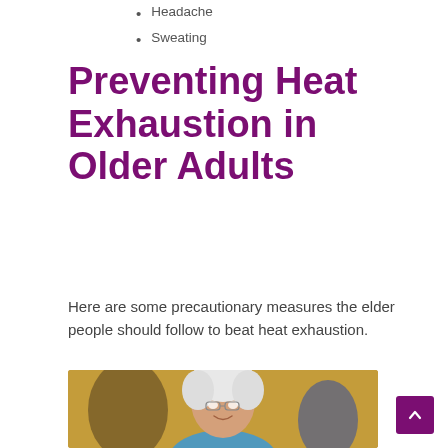Headache
Sweating
Preventing Heat Exhaustion in Older Adults
Here are some precautionary measures the elder people should follow to beat heat exhaustion.
[Figure (photo): Elderly woman with white hair smiling, wearing glasses, with blurred background]